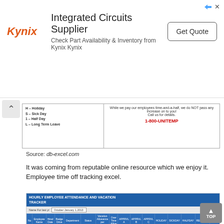[Figure (screenshot): Kynix advertisement banner: Integrated Circuits Supplier, Check Part Availability & Inventory from Kynix Kynix, Get Quote button]
[Figure (screenshot): Partial document snippet showing holiday/sick day codes and 1-800-UNITEMP phone number]
Source: db-excel.com
It was coming from reputable online resource which we enjoy it. Employee time off tracking excel.
[Figure (screenshot): Hourly Employee Attendance and Vacation Tracker spreadsheet showing employee names, hire dates, departments, status, vacation days, and attendance calendar]